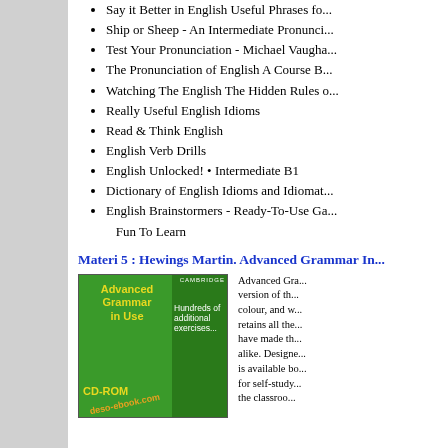Say it Better in English Useful Phrases fo...
Ship or Sheep - An Intermediate Pronunci...
Test Your Pronunciation - Michael Vaugha...
The Pronunciation of English A Course B...
Watching The English The Hidden Rules o...
Really Useful English Idioms
Read & Think English
English Verb Drills
English Unlocked! • Intermediate B1
Dictionary of English Idioms and Idiomat...
English Brainstormers - Ready-To-Use Ga... Fun To Learn
Materi 5 : Hewings Martin. Advanced Grammar In...
[Figure (photo): Book cover of Advanced Grammar in Use CD-ROM by Cambridge, with green background and yellow title text, and a watermark stamp deso-ebook.com]
Advanced Gra... version of th... colour, and w... retains all the... have made th... alike. Designe... is available bo... for self-study... the classroo...